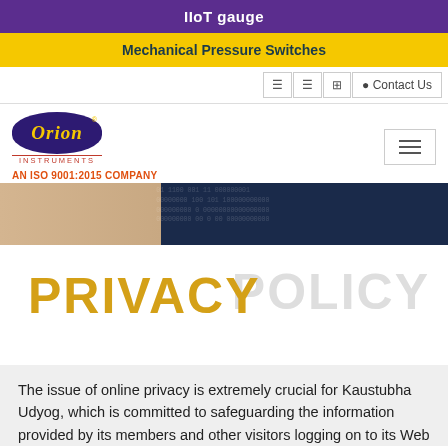IIoT gauge
Mechanical Pressure Switches
[Figure (logo): Orion Instruments logo - oval dark purple shape with Orion in gold italic text, AN ISO 9001:2015 COMPANY text in orange below]
[Figure (photo): Hero strip image with skin/hand texture on left and dark blue digital binary pattern background on right]
PRIVACY POLICY
The issue of online privacy is extremely crucial for Kaustubha Udyog, which is committed to safeguarding the information provided by its members and other visitors logging on to its Web